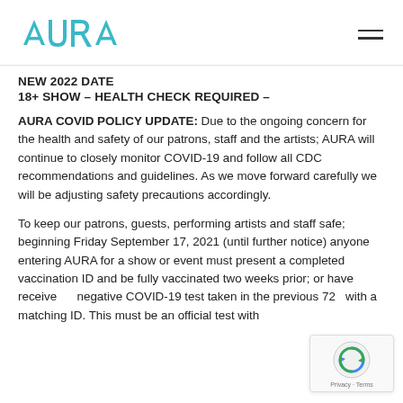[Figure (logo): AURA logo in teal/cyan color with stylized A and R letters]
NEW 2022 DATE
18+ Show – HEALTH CHECK REQUIRED –
AURA COVID POLICY UPDATE: Due to the ongoing concern for the health and safety of our patrons, staff and the artists; AURA will continue to closely monitor COVID-19 and follow all CDC recommendations and guidelines. As we move forward carefully we will be adjusting safety precautions accordingly.
To keep our patrons, guests, performing artists and staff safe; beginning Friday September 17, 2021 (until further notice) anyone entering AURA for a show or event must present a completed vaccination ID and be fully vaccinated two weeks prior; or have received a negative COVID-19 test taken in the previous 72 hours with a matching ID. This must be an official test with